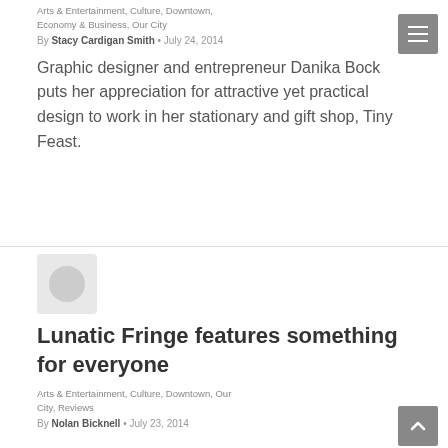Arts & Entertainment, Culture, Downtown, Economy & Business, Our City
By Stacy Cardigan Smith • July 24, 2014
Graphic designer and entrepreneur Danika Bock puts her appreciation for attractive yet practical design to work in her stationary and gift shop, Tiny Feast.
[Figure (illustration): Avatar placeholder circle icon on gray rounded square background]
Lunatic Fringe features something for everyone
Arts & Entertainment, Culture, Downtown, Our City, Reviews
By Nolan Bicknell • July 23, 2014